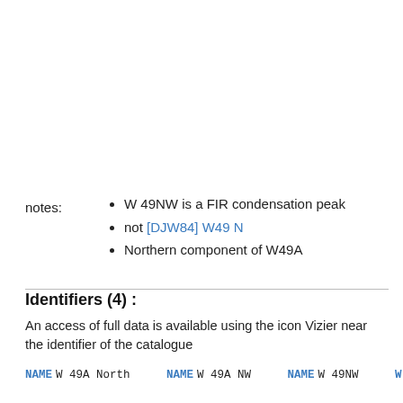notes:
W 49NW is a FIR condensation peak
not [DJW84] W49 N
Northern component of W49A
Identifiers (4) :
An access of full data is available using the icon Vizier near the identifier of the catalogue
NAME W 49A North   NAME W 49A NW   NAME W 49NW   W 49n